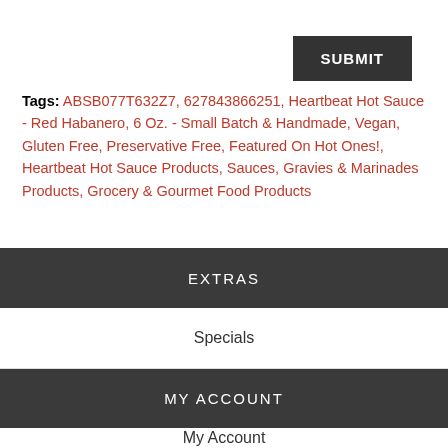SUBMIT
Tags: ABSB077T632Z7, 627843866251, Heartbeat Hot Sauce - Red Habanero, 6 Oz. - Small Batch & Handmade, Vegan, Gluten Free, Preservative Free, Featured On Hot Ones!, Heartbeat Hot Sauce Products, Sauces, Gravies & Marinades Products, Grocery & Gourmet Food Products
EXTRAS
Brands
Specials
MY ACCOUNT
My Account